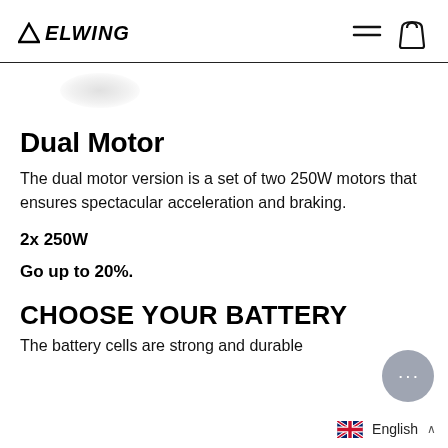▲ ELWING
[Figure (screenshot): Partially visible product image (blurred/cropped) of an Elwing skateboard or electric board]
Dual Motor
The dual motor version is a set of two 250W motors that ensures spectacular acceleration and braking.
2x 250W
Go up to 20%.
CHOOSE YOUR BATTERY
The battery cells are strong and durable